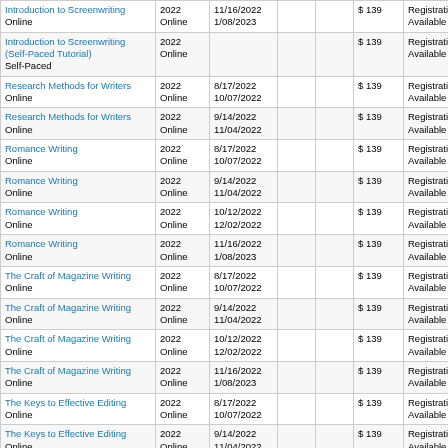| Course | Year/Format | Dates |  |  | Price | Status |
| --- | --- | --- | --- | --- | --- | --- |
| Introduction to Screenwriting
Online | 2022
Online | 11/16/2022
1/08/2023 |  |  | $ 139 | Registration Available |
| Introduction to Screenwriting (Self-Paced Tutorial)
Self-Paced | 2022
Online |  |  |  | $ 139 | Registration Available |
| Research Methods for Writers
Online | 2022
Online | 8/17/2022
10/07/2022 |  |  | $ 139 | Registration Available |
| Research Methods for Writers
Online | 2022
Online | 9/14/2022
11/04/2022 |  |  | $ 139 | Registration Available |
| Romance Writing
Online | 2022
Online | 8/17/2022
10/07/2022 |  |  | $ 139 | Registration Available |
| Romance Writing
Online | 2022
Online | 9/14/2022
11/04/2022 |  |  | $ 139 | Registration Available |
| Romance Writing
Online | 2022
Online | 10/12/2022
12/02/2022 |  |  | $ 139 | Registration Available |
| Romance Writing
Online | 2022
Online | 11/16/2022
1/08/2023 |  |  | $ 139 | Registration Available |
| The Craft of Magazine Writing
Online | 2022
Online | 8/17/2022
10/07/2022 |  |  | $ 139 | Registration Available |
| The Craft of Magazine Writing
Online | 2022
Online | 9/14/2022
11/04/2022 |  |  | $ 139 | Registration Available |
| The Craft of Magazine Writing
Online | 2022
Online | 10/12/2022
12/02/2022 |  |  | $ 139 | Registration Available |
| The Craft of Magazine Writing
Online | 2022
Online | 11/16/2022
1/08/2023 |  |  | $ 139 | Registration Available |
| The Keys to Effective Editing
Online | 2022
Online | 8/17/2022
10/07/2022 |  |  | $ 139 | Registration Available |
| The Keys to Effective Editing
Online | 2022
Online | 9/14/2022
11/04/2022 |  |  | $ 139 | Registration Available |
| The Keys to Effective Editing
Online | 2022
Online | 10/12/2022
12/02/2022 |  |  | $ 139 | Registration Available |
| The Keys to Effective Editing
Online | 2022
Online | 11/16/2022
1/08/2023 |  |  | $ 139 | Registration Available |
| The Keys to Effective Editing (Self-Paced Tutorial)
Self-Paced | 2022
Online |  |  |  | $ 139 | Registration Available |
| Travel Writing
Online | 2022
Online | 8/17/2022
10/07/2022 |  |  | $ 139 | Registration Available |
| Travel Writing
Online | 2022
Online | 9/14/2022
11/04/2022 |  |  | $ 139 | Registration Available |